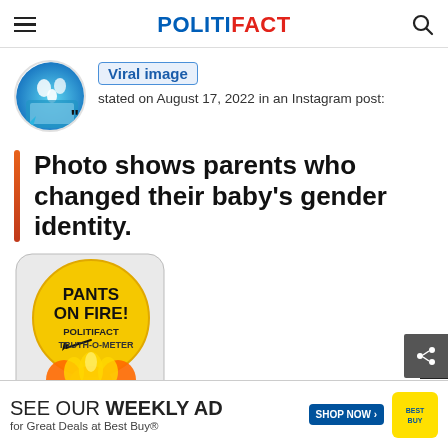POLITIFACT
Viral image stated on August 17, 2022 in an Instagram post:
Photo shows parents who changed their baby's gender identity.
[Figure (illustration): PolitiFact Truth-O-Meter Pants on Fire rating badge — a circular badge with flame graphics and text PANTS ON FIRE! POLITIFACT TRUTH-O-METER]
By Cia
SEE OUR WEEKLY AD for Great Deals at Best Buy®